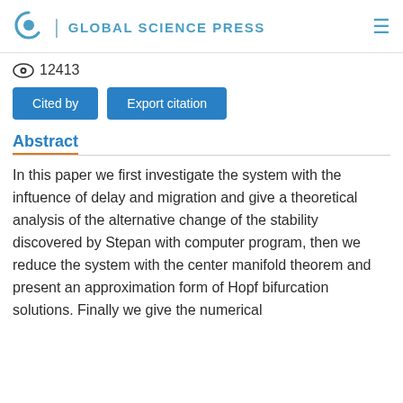GLOBAL SCIENCE PRESS
12413
Cited by   Export citation
Abstract
In this paper we first investigate the system with the inftuence of delay and migration and give a theoretical analysis of the alternative change of the stability discovered by Stepan with computer program, then we reduce the system with the center manifold theorem and present an approximation form of Hopf bifurcation solutions. Finally we give the numerical